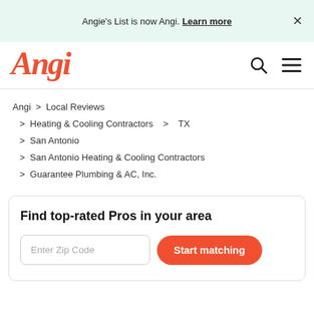Angie's List is now Angi. Learn more ×
[Figure (logo): Angi logo in red/orange with search and menu icons]
Angi > Local Reviews > Heating & Cooling Contractors > TX > San Antonio > San Antonio Heating & Cooling Contractors > Guarantee Plumbing & AC, Inc.
Find top-rated Pros in your area
Enter Zip Code  Start matching